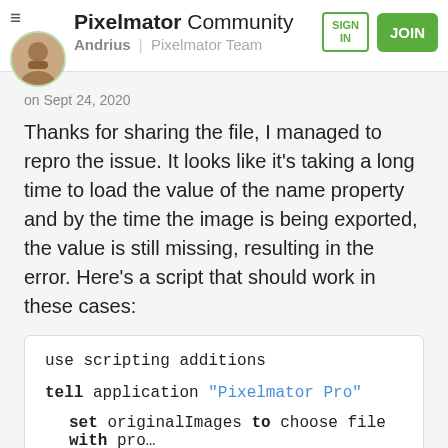Pixelmator Community — Andrius | Pixelmator Team — SIGN IN — JOIN
on Sept 24, 2020
Thanks for sharing the file, I managed to repro the issue. It looks like it's taking a long time to load the value of the name property and by the time the image is being exported, the value is still missing, resulting in the error. Here's a script that should work in these cases:
use scripting additions

tell application "Pixelmator Pro"
    set originalImages to choose file with prom